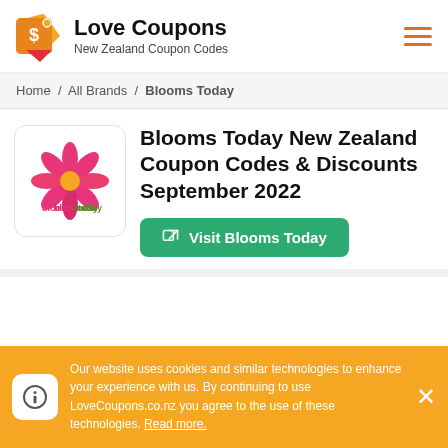Love Coupons — New Zealand Coupon Codes
Home / All Brands / Blooms Today
Blooms Today New Zealand Coupon Codes & Discounts September 2022
[Figure (logo): Blooms Today logo — pink flower petals with orange center and text 'bloomstoday' in pink/green]
Visit Blooms Today
Our website uses cookies and similar technologies to enhance your experience with us. By continuing to use LoveCoupons.co.nz you agree to the use of these technologies. Read more.